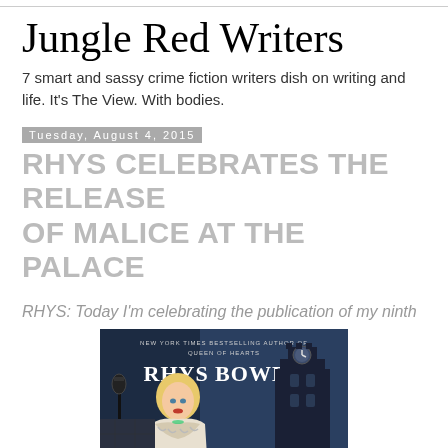Jungle Red Writers
7 smart and sassy crime fiction writers dish on writing and life. It's The View. With bodies.
Tuesday, August 4, 2015
RHYS CELEBRATES THE RELEASE OF MALICE AT THE PALACE
RHYS: Today I'm celebrating the publication of my ninth
[Figure (photo): Book cover of 'Malice at the Palace' by Rhys Bowen. Dark blue background with an illustration of a blonde woman in period clothing and a gothic tower/clock tower in the background. Text reads: NEW YORK TIMES BESTSELLING AUTHOR OF QUEEN OF HEARTS / RHYS BOWEN]